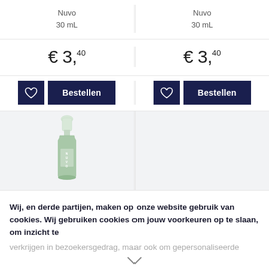Nuvo
30 mL
Nuvo
30 mL
€ 3,40
€ 3,40
Bestellen
Bestellen
[Figure (photo): A small green Nuvo nail polish bottle with a clear cap, displayed against a light grey background]
Wij, en derde partijen, maken op onze website gebruik van cookies. Wij gebruiken cookies om jouw voorkeuren op te slaan, om inzicht te
verkrijgen in bezoekersgedrag, maar ook om gepersonaliseerde